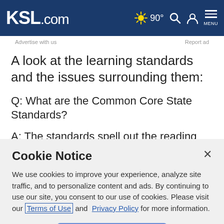KSL.com — 90° Search Account Menu
Advertise with us    Report ad
A look at the learning standards and the issues surrounding them:
Q: What are the Common Core State Standards?
A: The standards spell out the reading and math skills that
Cookie Notice
We use cookies to improve your experience, analyze site traffic, and to personalize content and ads. By continuing to use our site, you consent to our use of cookies. Please visit our Terms of Use and Privacy Policy for more information.
Continue